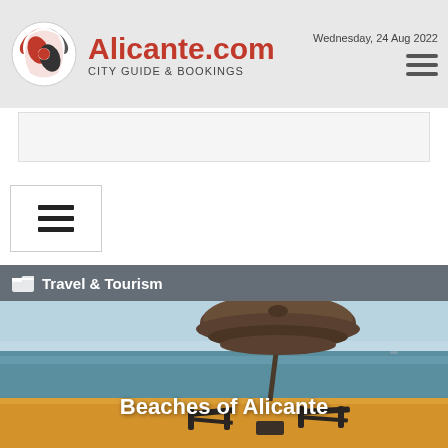Alicante.com CITY GUIDE & BOOKINGS — Wednesday, 24 Aug 2022
[Figure (screenshot): Ad banner placeholder]
[Figure (other): Hamburger menu button with three horizontal lines inside a bordered box]
Travel & Tourism
[Figure (photo): Beach scene with thatched umbrella and two lounge chairs on golden sand, with calm sea and sky in background. Text overlay reads: Beaches of Alicante]